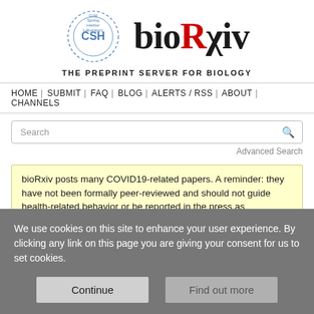[Figure (logo): bioRxiv logo with Cold Spring Harbor Laboratory crest and biorXiv wordmark with red R, tagline THE PREPRINT SERVER FOR BIOLOGY]
HOME | SUBMIT | FAQ | BLOG | ALERTS / RSS | ABOUT | CHANNELS
Search
Advanced Search
bioRxiv posts many COVID19-related papers. A reminder: they have not been formally peer-reviewed and should not guide health-related behavior or be reported in the press as conclusive.
We use cookies on this site to enhance your user experience. By clicking any link on this page you are giving your consent for us to set cookies.
Continue
Find out more